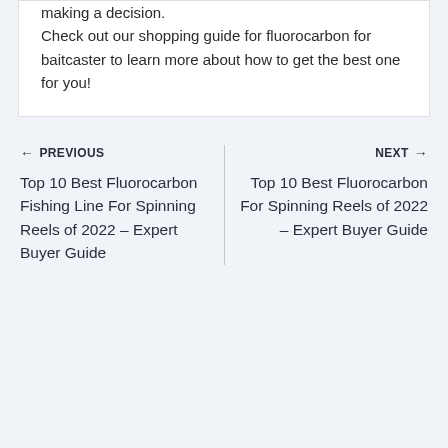making a decision.
Check out our shopping guide for fluorocarbon for baitcaster to learn more about how to get the best one for you!
← PREVIOUS
Top 10 Best Fluorocarbon Fishing Line For Spinning Reels of 2022 – Expert Buyer Guide
NEXT →
Top 10 Best Fluorocarbon For Spinning Reels of 2022 – Expert Buyer Guide